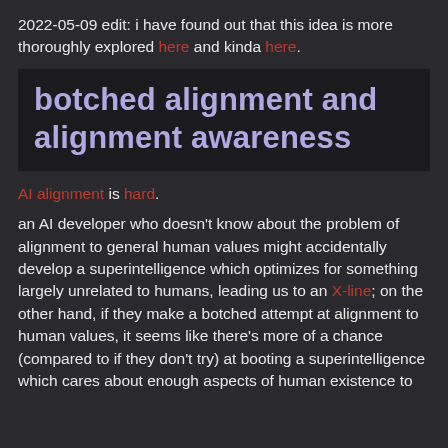2022-05-09 edit: i have found out that this idea is more thoroughly explored here and kinda here.
botched alignment and alignment awareness
AI alignment is hard.
an AI developer who doesn't know about the problem of alignment to general human values might accidentally develop a superintelligence which optimizes for something largely unrelated to humans, leading us to an X-line; on the other hand, if they make a botched attempt at alignment to human values, it seems like there's more of a chance (compared to if they don't try) at booting a superintelligence which cares about enough aspects of human existence to